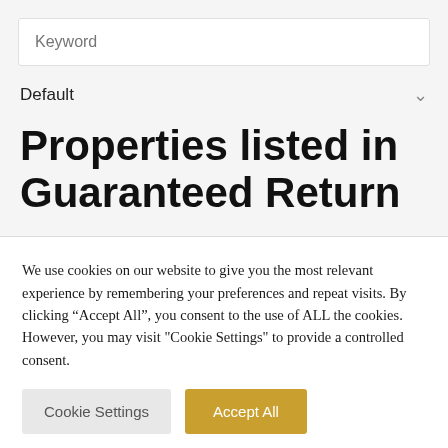Keyword
Default
Properties listed in Guaranteed Return
We use cookies on our website to give you the most relevant experience by remembering your preferences and repeat visits. By clicking “Accept All”, you consent to the use of ALL the cookies. However, you may visit "Cookie Settings" to provide a controlled consent.
Cookie Settings | Accept All